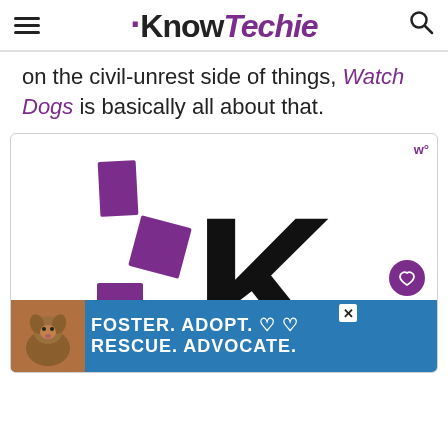KnowTechie
on the civil-unrest side of things, Watch Dogs is basically all about that.
[Figure (logo): KnowTechie logo — three purple rectangles arranged vertically to the left of a large black letter K, forming the KnowTechie brand mark on white background]
[Figure (infographic): Advertisement banner: blue background with a dog photo on left, text 'FOSTER. ADOPT. RESCUE. ADVOCATE.' in white bold uppercase, heart icons, and a close button]